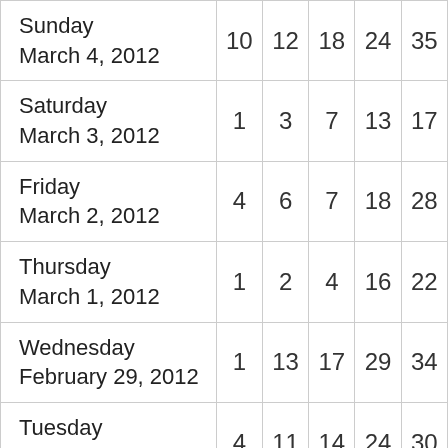| Date | Col1 | Col2 | Col3 | Col4 | Col5 |
| --- | --- | --- | --- | --- | --- |
| Sunday
March 4, 2012 | 10 | 12 | 18 | 24 | 35 |
| Saturday
March 3, 2012 | 1 | 3 | 7 | 13 | 17 |
| Friday
March 2, 2012 | 4 | 6 | 7 | 18 | 28 |
| Thursday
March 1, 2012 | 1 | 2 | 4 | 16 | 22 |
| Wednesday
February 29, 2012 | 1 | 13 | 17 | 29 | 34 |
| Tuesday
February 28, 2012 | 4 | 11 | 14 | 24 | 30 |
| Monday | 1 | 6 | 8 | 19 | 34 |